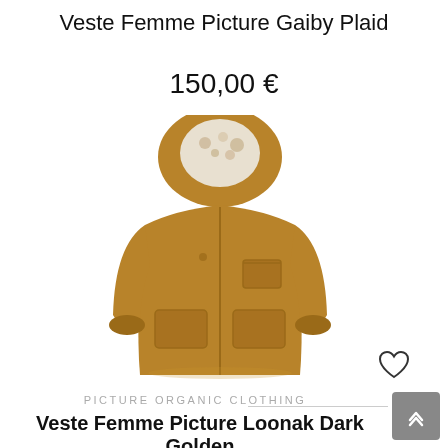Veste Femme Picture Gaiby Plaid
150,00 €
[Figure (photo): A women's caramel/golden brown hooded jacket (Veste Femme Picture Gaiby Plaid) displayed on a white background. The jacket features a large hood with floral lining, multiple front pockets, and a side chest pocket with zipper.]
PICTURE ORGANIC CLOTHING
Veste Femme Picture Loonak Dark Golden